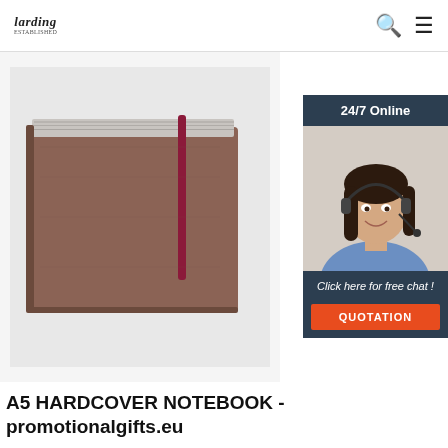Larding | 24/7 Online
[Figure (photo): Close-up photo of a brown hardcover A5 notebook spine with a red/burgundy ribbon bookmark, viewed from top-side angle showing pages stacked]
[Figure (infographic): 24/7 Online customer support chat widget showing a smiling woman with headset, text 'Click here for free chat!' and an orange QUOTATION button]
A5 HARDCOVER NOTEBOOK - promotionalgifts.eu